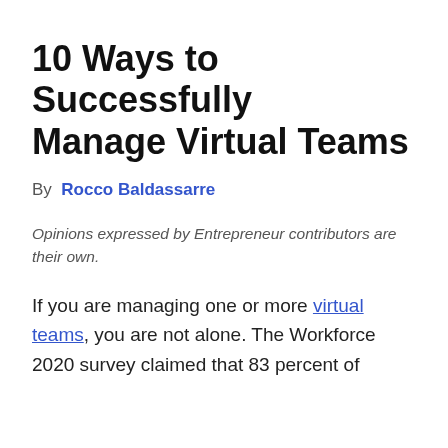10 Ways to Successfully Manage Virtual Teams
By  Rocco Baldassarre
Opinions expressed by Entrepreneur contributors are their own.
If you are managing one or more virtual teams, you are not alone. The Workforce 2020 survey claimed that 83 percent of